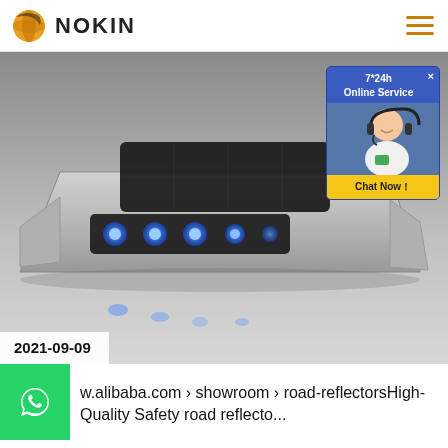[Figure (logo): NOKIN logo with golden globe icon and company name text]
[Figure (photo): Solar road reflector/stud device with blue LED lights glowing, metallic aluminum housing, with overlaid chat widget showing '7*24h Online Service' and 'Chat Now!' button]
2021-09-09
[Figure (logo): WhatsApp green button icon]
w.alibaba.com › showroom › road-reflectorsHigh-Quality Safety road reflecto...